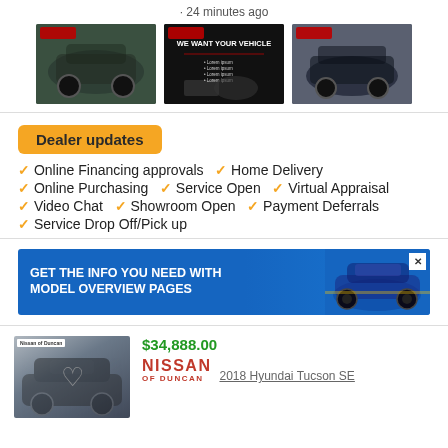· 24 minutes ago
[Figure (photo): Three thumbnail images of vehicles: a dark SUV from the front-side, a dark advertisement sign reading WE WANT YOUR VEHICLE, and a dark SUV from the rear.]
Dealer updates
✓ Online Financing approvals  ✓ Home Delivery
✓ Online Purchasing  ✓ Service Open  ✓ Virtual Appraisal
✓ Video Chat  ✓ Showroom Open  ✓ Payment Deferrals
✓ Service Drop Off/Pick up
[Figure (screenshot): Blue advertisement banner reading GET THE INFO YOU NEED WITH MODEL OVERVIEW PAGES with a blue sports car on the right side and a close button (X) in the top right corner.]
$34,888.00
[Figure (photo): Nissan of Duncan dealer listing thumbnail showing a dark car with a heart overlay icon.]
NISSAN OF DUNCAN
2018 Hyundai Tucson SE